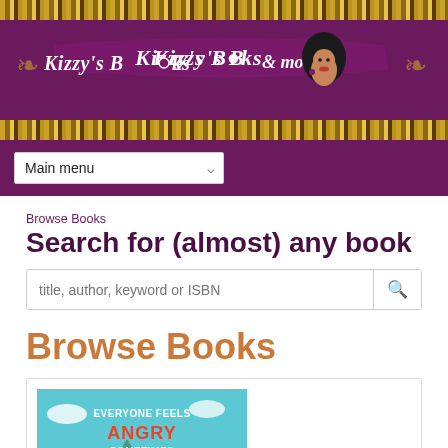[Figure (logo): Kizzy's Books & more banner logo with decorative African-pattern borders, purple background, illustration of woman with afro hair, ribbon text reading Kizzy's Books & more]
Main menu
Browse Books
Search for (almost) any book
title, author, keyword or ISBN
Browse Books
[Figure (illustration): Book cover: Everyone Feels Angry Sometimes - children's book with illustrated kids and monster character on a teal background]